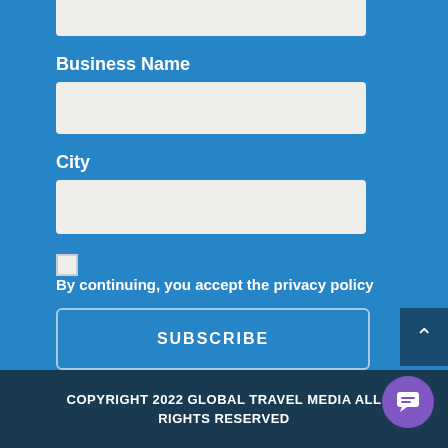(top input field - partial, cropped)
Business Name
(Business Name input field)
City
(City input field)
By continuing, you accept the privacy policy
SUBSCRIBE
COPYRIGHT 2022 GLOBAL TRAVEL MEDIA ALL RIGHTS RESERVED